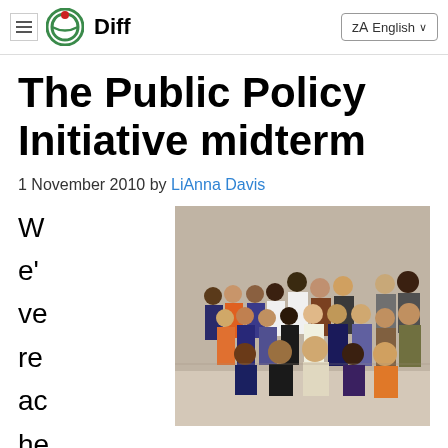Diff — Language: English
The Public Policy Initiative midterm
1 November 2010 by LiAnna Davis
[Figure (photo): Group photo of approximately 30 students/participants standing and kneeling in rows inside a classroom or meeting room.]
We've reached d